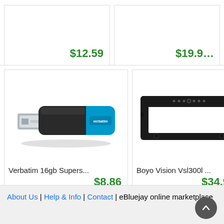$12.59
$19.9...
[Figure (photo): Verbatim 16GB USB 3.0 SuperSpeed flash drive, black with blue accent]
Verbatim 16gb Supers...
$8.86
[Figure (photo): Boyo Vision VSL300L license plate frame backup camera, black plastic frame]
Boyo Vision Vsl300l ...
$34.9...
About Us | Help & Info | Contact | eBluejay online marketplace